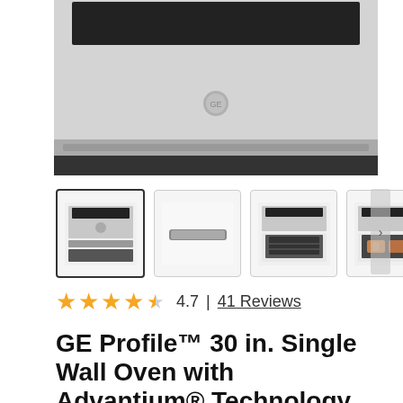[Figure (photo): GE Profile wall oven product photo - stainless steel single wall oven with Advantium technology, top view cropped]
[Figure (photo): Four product thumbnail images: 1) front view of oven, 2) handle/bar detail, 3) oven with door open, 4) oven with food inside]
4.7  |  41 Reviews
GE Profile™ 30 in. Single Wall Oven with Advantium® Technology